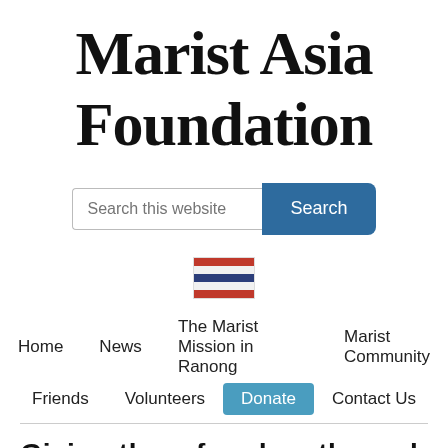Marist Asia Foundation
[Figure (screenshot): Search bar with placeholder text 'Search this website' and a dark blue Search button]
[Figure (illustration): Thailand flag icon]
Home   News   The Marist Mission in Ranong   Marist Community   Friends   Volunteers   Donate   Contact Us
Giving them freedom through